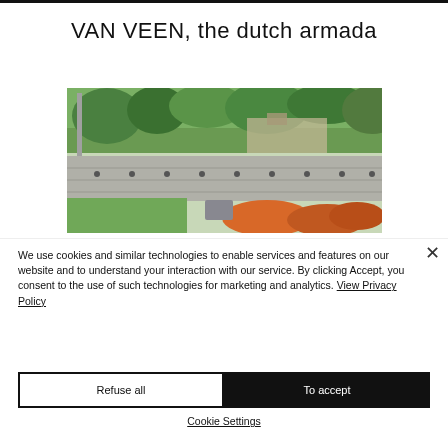VAN VEEN, the dutch armada
[Figure (photo): Outdoor photograph showing stone wall/barrier in the foreground with green trees and buildings in the background, and orange/red objects visible at bottom right]
We use cookies and similar technologies to enable services and features on our website and to understand your interaction with our service. By clicking Accept, you consent to the use of such technologies for marketing and analytics. View Privacy Policy
Refuse all
To accept
Cookie Settings